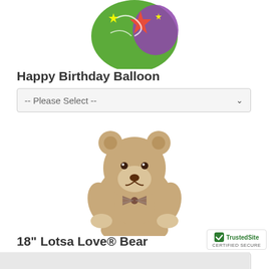[Figure (photo): Colorful Happy Birthday balloon with stars and swirls, partially cropped at top of page]
Happy Birthday Balloon
-- Please Select --
[Figure (photo): 18 inch Lotsa Love teddy bear, beige/tan stuffed animal with checkered bow tie, sitting upright on white background]
18" Lotsa Love® Bear
-- Please Select --
[Figure (logo): TrustedSite Certified Secure badge with green checkmark]